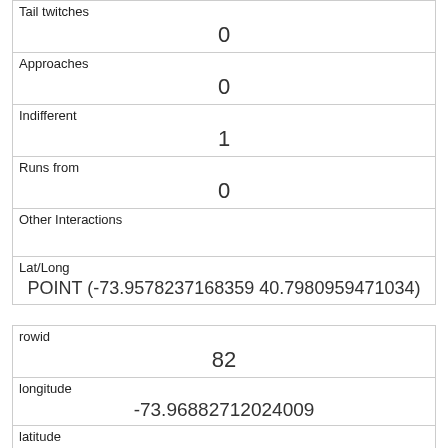| Tail twitches | 0 |
| Approaches | 0 |
| Indifferent | 1 |
| Runs from | 0 |
| Other Interactions |  |
| Lat/Long | POINT (-73.9578237168359 40.7980959471034) |
| rowid | 82 |
| longitude | -73.96882712024009 |
| latitude | 40.7809719445309 |
| Unique Squirrel ID | 19C-PM-1018-01 |